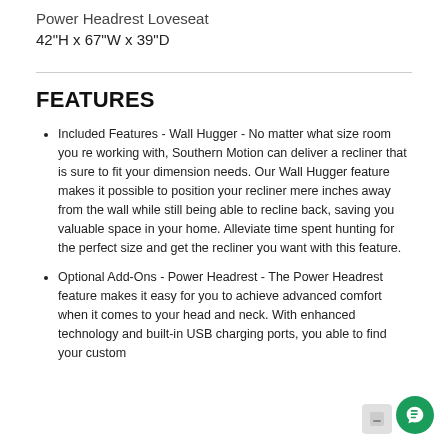Power Headrest Loveseat
42"H x 67"W x 39"D
FEATURES
Included Features - Wall Hugger - No matter what size room you re working with, Southern Motion can deliver a recliner that is sure to fit your dimension needs. Our Wall Hugger feature makes it possible to position your recliner mere inches away from the wall while still being able to recline back, saving you valuable space in your home. Alleviate time spent hunting for the perfect size and get the recliner you want with this feature.
Optional Add-Ons - Power Headrest - The Power Headrest feature makes it easy for you to achieve advanced comfort when it comes to your head and neck. With enhanced technology and built-in USB charging ports, you able to find your custom...